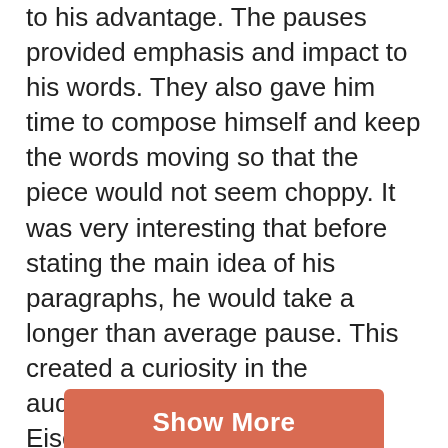to his advantage. The pauses provided emphasis and impact to his words. They also gave him time to compose himself and keep the words moving so that the piece would not seem choppy. It was very interesting that before stating the main idea of his paragraphs, he would take a longer than average pause. This created a curiosity in the audience. For example, Eisenhower states that, “I feel impelled to speak today in a language that in a sense is new… That new language is the language of atomic warfare.” Before the second sentence in that quotation, which was the most important sentence in the paragraph, Eisenhower took a very long pause. Overall, Eisenhower’s delivery was well done and gave new meaning to the words. This speech was possibly a tipping point for worldwide focus on peaceful uses of atomic energy. It could be argued that Eisenhower was attemp…rified